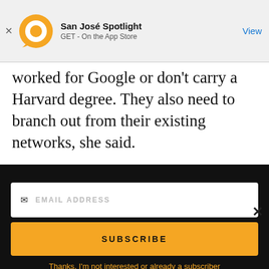[Figure (screenshot): App Store smart banner for San José Spotlight app with orange circular logo, title 'San José Spotlight', subtitle 'GET - On the App Store', and a 'View' link button on the right]
worked for Google or don't carry a Harvard degree. They also need to branch out from their existing networks, she said.
[Figure (screenshot): San José Spotlight advertisement banner showing logo, tagline 'Where San Jose locals start the day.' and website sanjosespotlight.com, with a tablet device image on the right side]
[Figure (screenshot): Newsletter subscription form on black background with EMAIL ADDRESS input field, a gold SUBSCRIBE button, and a link 'Thanks, I'm not interested or already a subscriber']